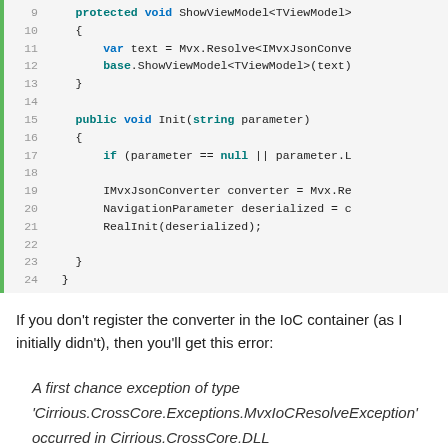[Figure (screenshot): Code snippet showing C# methods ShowViewModel and Init with line numbers 9-24, using syntax highlighting (blue/teal keywords)]
If you don't register the converter in the IoC container (as I initially didn't), then you'll get this error:
A first chance exception of type 'Cirrious.CrossCore.Exceptions.MvxIoCResolveException' occurred in Cirrious.CrossCore.DLL